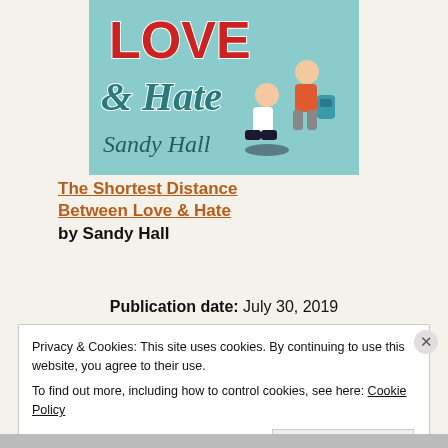[Figure (illustration): Book cover of 'The Shortest Distance Between Love & Hate' by Sandy Hall. Light teal/blue background with stylized text. 'Love' in bold red block letters at top, '& Hate' in teal italic script below, author name 'Sandy Hall' in teal italic script at bottom left. Two illustrated characters: a girl sitting on the floor and a boy sitting elevated with a backpack.]
The Shortest Distance Between Love & Hate by Sandy Hall
Publication date: July 30, 2019
Privacy & Cookies: This site uses cookies. By continuing to use this website, you agree to their use. To find out more, including how to control cookies, see here: Cookie Policy
Close and accept